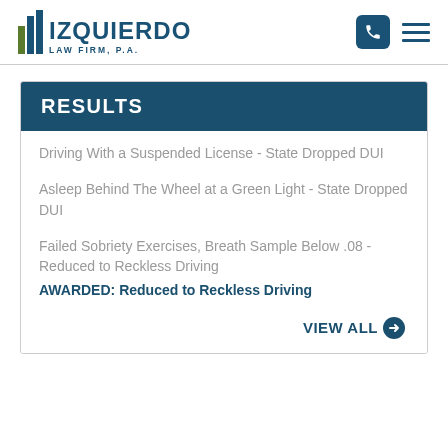[Figure (logo): Izquierdo Law Firm, P.A. logo with bar chart icon in green and dark blue]
RESULTS
Driving With a Suspended License - State Dropped DUI
Asleep Behind The Wheel at a Green Light - State Dropped DUI
Failed Sobriety Exercises, Breath Sample Below .08 - Reduced to Reckless Driving
AWARDED: Reduced to Reckless Driving
VIEW ALL